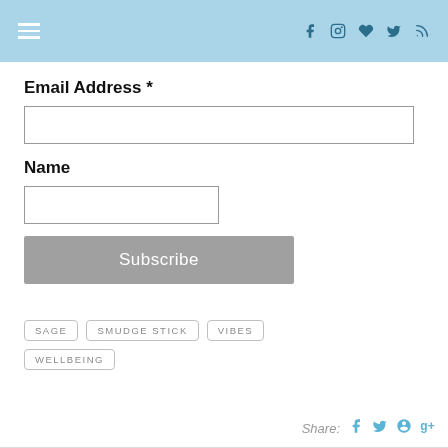Navigation header with hamburger menu and social icons (Facebook, Instagram, Heart, Tumblr, RSS)
Email Address *
Name
Subscribe
SAGE
SMUDGE STICK
VIBES
WELLBEING
Share: